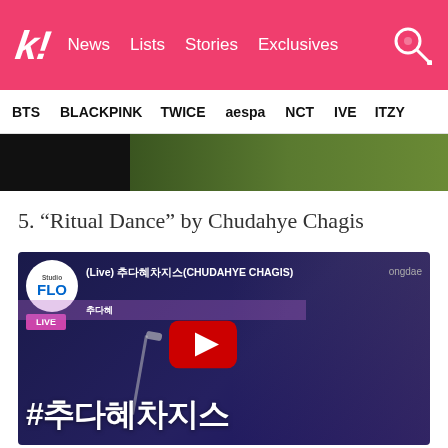k! News | Lists | Stories | Exclusives
BTS | BLACKPINK | TWICE | aespa | NCT | IVE | ITZY
[Figure (screenshot): Partial image strip at top of article content]
5. “Ritual Dance” by Chudahye Chagis
[Figure (screenshot): YouTube video thumbnail showing Studio FLO LIVE performance of Chudahye Chagis, with Korean hashtag #추다혜차지스 at bottom, singer at microphone, play button overlay]